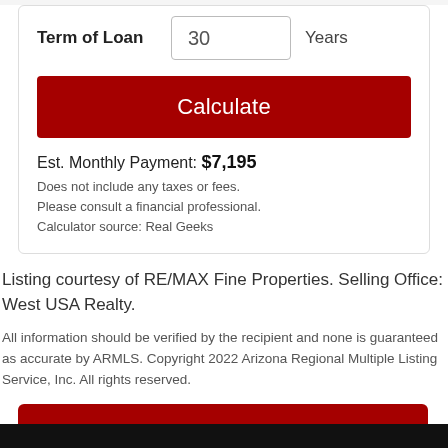Term of Loan
30 Years
Calculate
Est. Monthly Payment: $7,195
Does not include any taxes or fees.
Please consult a financial professional.
Calculator source: Real Geeks
Listing courtesy of RE/MAX Fine Properties. Selling Office: West USA Realty.
All information should be verified by the recipient and none is guaranteed as accurate by ARMLS. Copyright 2022 Arizona Regional Multiple Listing Service, Inc. All rights reserved.
Additional Navigation